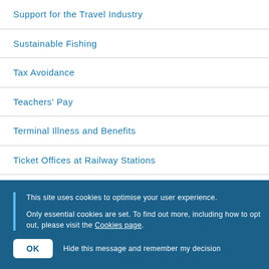Support for the Travel Industry
Sustainable Fishing
Tax Avoidance
Teachers' Pay
Terminal Illness and Benefits
Ticket Offices at Railway Stations
Tourism and VAT
This site uses cookies to optimise your user experience.

Only essential cookies are set. To find out more, including how to opt out, please visit the Cookies page.
OK  Hide this message and remember my decision